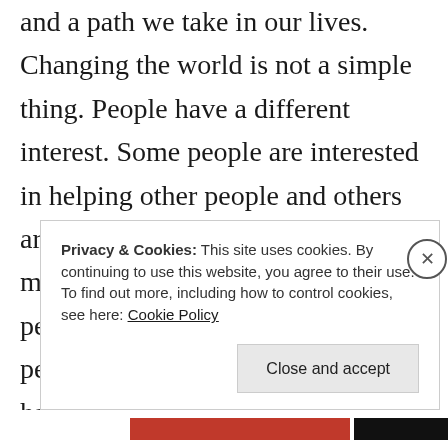and a path we take in our lives. Changing the world is not a simple thing. People have a different interest. Some people are interested in helping other people and others are interested in making profits as much as possible at the cost of other people's lives. When these different people interact, the conflict usually happens.
Privacy & Cookies: This site uses cookies. By continuing to use this website, you agree to their use.
To find out more, including how to control cookies, see here: Cookie Policy
Close and accept